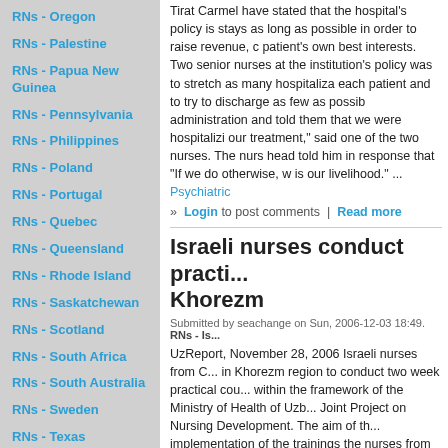RNs - Oregon
RNs - Palestine
RNs - Papua New Guinea
RNs - Pennsylvania
RNs - Philippines
RNs - Poland
RNs - Portugal
RNs - Quebec
RNs - Queensland
RNs - Rhode Island
RNs - Saskatchewan
RNs - Scotland
RNs - South Africa
RNs - South Australia
RNs - Sweden
RNs - Texas
RNs - Trinidad & Tobago
RNs - Uganda
Tirat Carmel have stated that the hospital's policy is stays as long as possible in order to raise revenue, c patient's own best interests. Two senior nurses at the institution's policy was to stretch as many hospitaliza each patient and to try to discharge as few as possib administration and told them that we were hospitalizi our treatment," said one of the two nurses. The nurs head told him in response that "If we do otherwise, w is our livelihood." ... Psychiatric
» Login to post comments | Read more
Israeli nurses conduct practi... Khorezm
Submitted by seachange on Sun, 2006-12-03 18:49.   RNs - Is...
UzReport, November 28, 2006 Israeli nurses from C... in Khorezm region to conduct two week practical cou... within the framework of the Ministry of Health of Uzb... Joint Project on Nursing Development. The aim of th... implementation of the trainings the nurses from Kho... Israel on a number of studying tours. ... Israeli
» Login to post comments
Klalit Nurses Go on Strike, O...